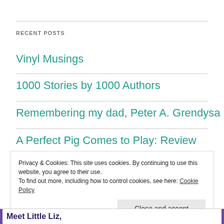RECENT POSTS
Vinyl Musings
1000 Stories by 1000 Authors
Remembering my dad, Peter A. Grendysa
A Perfect Pig Comes to Play: Review
Privacy & Cookies: This site uses cookies. By continuing to use this website, you agree to their use.
To find out more, including how to control cookies, see here: Cookie Policy
Close and accept
Meet Little Liz,